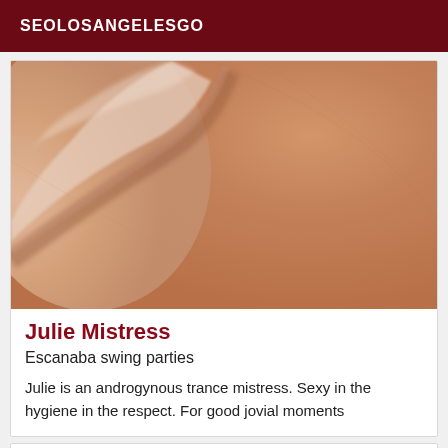SEOLOSANGELESGO
[Figure (photo): Close-up photo of human skin, warm tone, macro shot showing skin texture and contours.]
Julie Mistress
Escanaba swing parties
Julie is an androgynous trance mistress. Sexy in the hygiene in the respect. For good jovial moments